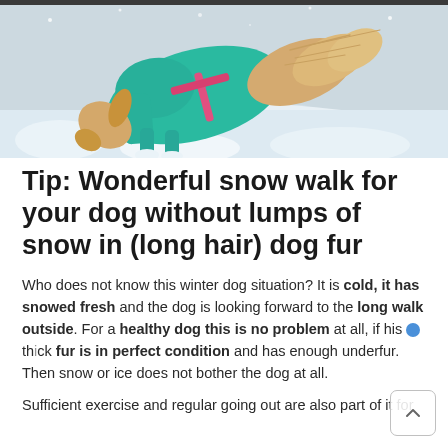[Figure (photo): A golden retriever dog wearing a teal/turquoise coat or jacket, digging or playing in fresh white snow outdoors. The dog's long fur is visible at the back end.]
Tip: Wonderful snow walk for your dog without lumps of snow in (long hair) dog fur
Who does not know this winter dog situation? It is cold, it has snowed fresh and the dog is looking forward to the long walk outside. For a healthy dog this is no problem at all, if his thick fur is in perfect condition and has enough underfur. Then snow or ice does not bother the dog at all.
Sufficient exercise and regular going out are also part of it for